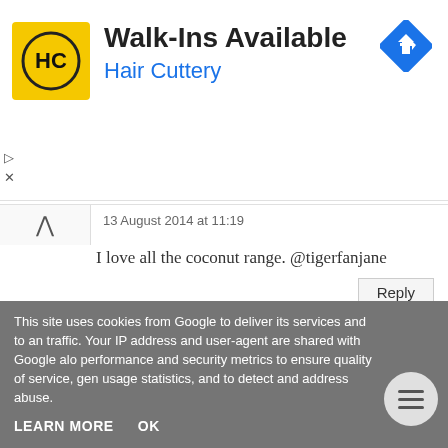[Figure (other): Hair Cuttery advertisement banner with logo (HC in yellow circle), 'Walk-Ins Available' title, 'Hair Cuttery' subtitle in blue, and navigation arrow icon]
13 August 2014 at 11:19
I love all the coconut range. @tigerfanjane
Susie Wilkinson
13 August 2014 at 11:23
I love the Colour Crush Lipstick in Damson in Distress
This site uses cookies from Google to deliver its services and to an traffic. Your IP address and user-agent are shared with Google alo performance and security metrics to ensure quality of service, gen usage statistics, and to detect and address abuse.
LEARN MORE   OK